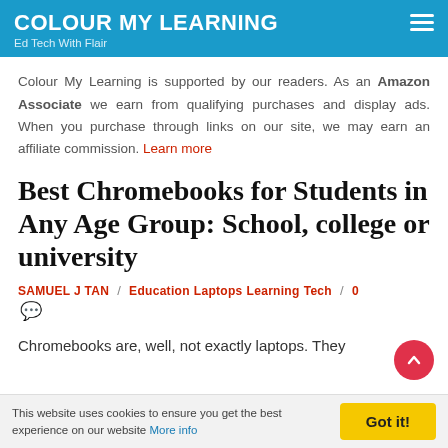COLOUR MY LEARNING
Ed Tech With Flair
Colour My Learning is supported by our readers. As an Amazon Associate we earn from qualifying purchases and display ads. When you purchase through links on our site, we may earn an affiliate commission. Learn more
Best Chromebooks for Students in Any Age Group: School, college or university
SAMUEL J TAN / Education Laptops Learning Tech / 0
Chromebooks are, well, not exactly laptops. They
This website uses cookies to ensure you get the best experience on our website More info | Got it!